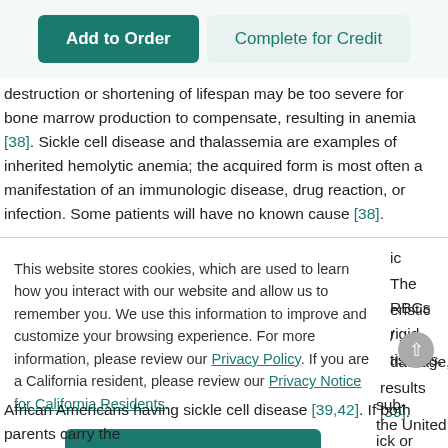Add to Order | Complete for Credit
destruction or shortening of lifespan may be too severe for bone marrow production to compensate, resulting in anemia [38]. Sickle cell disease and thalassemia are examples of inherited hemolytic anemia; the acquired form is most often a manifestation of an immunologic disease, drug reaction, or infection. Some patients will have no known cause [38].
This website stores cookies, which are used to learn how you interact with our website and allow us to remember you. We use this information to improve and customize your browsing experience. For more information, please review our Privacy Policy. If you are a California resident, please review our Privacy Notice for California Residents.
ic The RBCs eristic rigid / tissues. damage, results [39]. sub- the United ick or
African Americans having sickle cell disease [39,42]. If both parents carry the